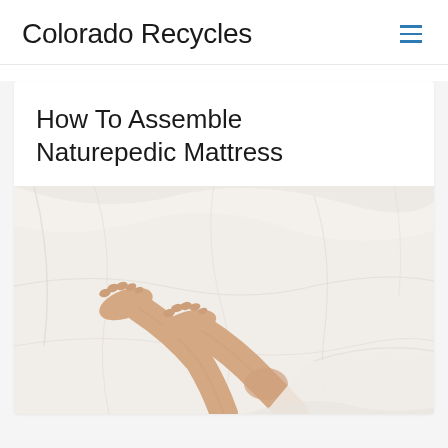Colorado Recycles
How To Assemble Naturepedic Mattress
[Figure (photo): Person's bare legs and feet lying on a white bed with white sheets, photographed from above.]